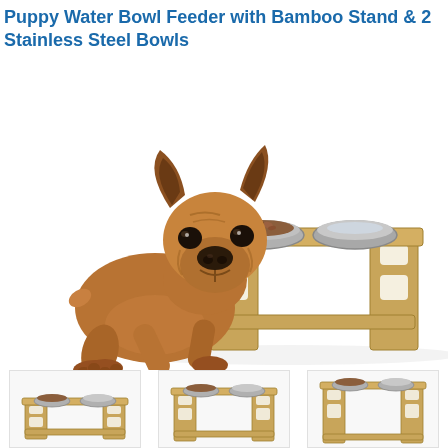Puppy Water Bowl Feeder with Bamboo Stand & 2 Stainless Steel Bowls
[Figure (photo): A French Bulldog puppy eating from a bamboo raised feeder stand with two stainless steel bowls]
[Figure (photo): Three thumbnail views of the bamboo dog feeder stand at different height settings showing the adjustable feature]
[Figure (photo): Thumbnail 1: low height setting]
[Figure (photo): Thumbnail 2: medium height setting]
[Figure (photo): Thumbnail 3: tall height setting]